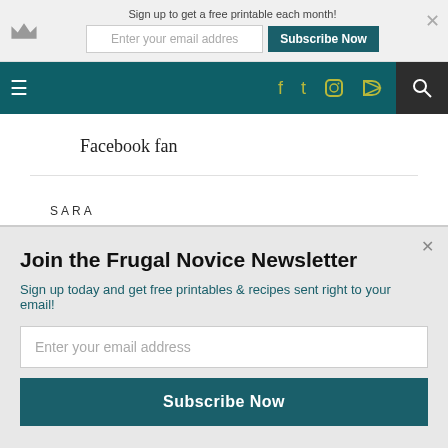Sign up to get a free printable each month! [email input] [Subscribe Now button] [x]
[Figure (screenshot): Navigation bar with hamburger menu, social icons (Facebook, Twitter, Instagram, RSS) in gold/olive color on dark teal background, and search icon on dark background]
Facebook fan
SARA
August 26, 2010 at 8:02 am
Join the Frugal Novice Newsletter
Sign up today and get free printables & recipes sent right to your email!
Enter your email address
Subscribe Now